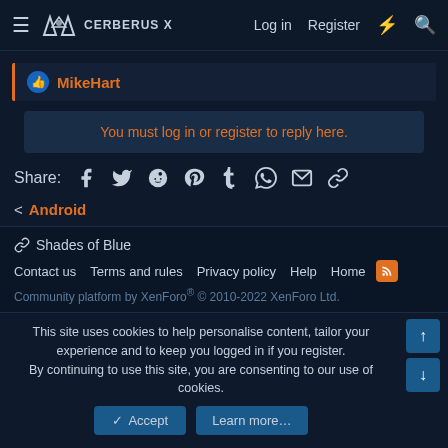CERBERUS X | Log in | Register
MikeHart
You must log in or register to reply here.
Share: (social icons: Facebook, Twitter, Reddit, Pinterest, Tumblr, WhatsApp, Email, Link)
< Android
Shades of Blue | Contact us | Terms and rules | Privacy policy | Help | Home
Community platform by XenForo® © 2010-2022 XenForo Ltd.
This site uses cookies to help personalise content, tailor your experience and to keep you logged in if you register. By continuing to use this site, you are consenting to our use of cookies.
✓ Accept | Learn more...